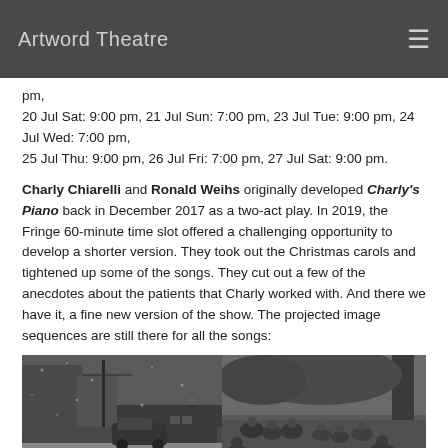Artword Theatre
pm,
20 Jul Sat: 9:00 pm, 21 Jul Sun: 7:00 pm, 23 Jul Tue: 9:00 pm, 24 Jul Wed: 7:00 pm,
25 Jul Thu: 9:00 pm, 26 Jul Fri: 7:00 pm, 27 Jul Sat: 9:00 pm.
Charly Chiarelli and Ronald Weihs originally developed Charly's Piano back in December 2017 as a two-act play. In 2019, the Fringe 60-minute time slot offered a challenging opportunity to develop a shorter version. They took out the Christmas carols and tightened up some of the songs. They cut out a few of the anecdotes about the patients that Charly worked with. And there we have it, a fine new version of the show. The projected image sequences are still there for all the songs:
[Figure (photo): Two black and white photos side by side: left shows a snowy street scene with a vintage car and bus; right shows people sitting outdoors under trees.]